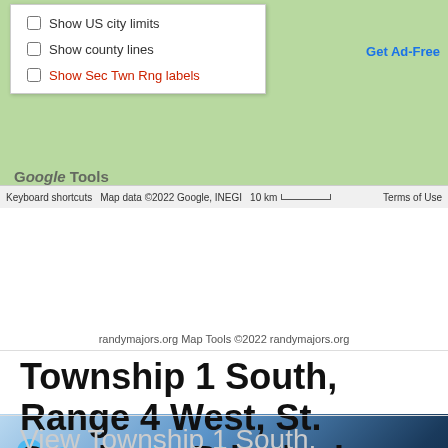[Figure (screenshot): Google Maps screenshot showing green terrain map area with a dropdown menu overlay containing checkboxes for 'Show US city limits', 'Show county lines', and 'Show Sec Twn Rng labels' (red text). A 'Get Ad-Free' link appears top right. Map footer bar shows keyboard shortcuts, map data copyright 2022 Google INEGI, 10 km scale bar, and Terms of Use.]
[Figure (screenshot): mapBuilder banner with blue gradient background, location pin icon, 'Customize this map' text in blue, and 'mapBuilder' branding with blue dot.]
randymajors.org Map Tools ©2022 randymajors.org
Township 1 South, Range 4 West, St. Stephens Principal Meridian, Mississippi
View Township 1 South,